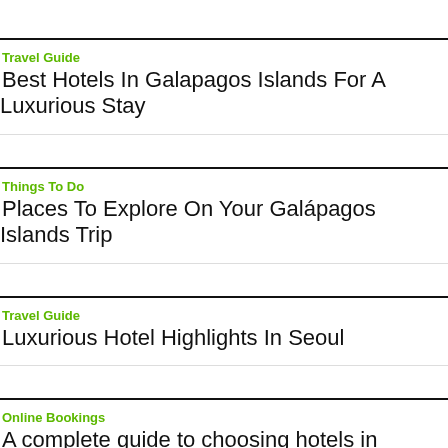Travel Guide
Best Hotels In Galapagos Islands For A Luxurious Stay
Things To Do
Places To Explore On Your Galápagos Islands Trip
Travel Guide
Luxurious Hotel Highlights In Seoul
Online Bookings
A complete guide to choosing hotels in Singapore